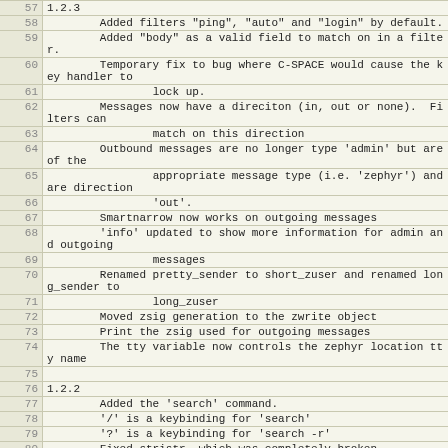| line | content |
| --- | --- |
| 57 | 1.2.3 |
| 58 |         Added filters "ping", "auto" and "login" by default. |
| 59 |         Added "body" as a valid field to match on in a filter. |
| 60 |         Temporary fix to bug where C-SPACE would cause the key handler to |
| 61 |                 lock up. |
| 62 |         Messages now have a direciton (in, out or none).  Filters can |
| 63 |                 match on this direction |
| 64 |         Outbound messages are no longer type 'admin' but are of the |
| 65 |                 appropriate message type (i.e. 'zephyr') and are direction |
| 66 |                 'out'. |
| 67 |         Smartnarrow now works on outgoing messages |
| 68 |         'info' updated to show more information for admin and outgoing |
| 69 |                 messages |
| 70 |         Renamed pretty_sender to short_zuser and renamed long_sender to |
| 71 |                 long_zuser |
| 72 |         Moved zsig generation to the zwrite object |
| 73 |         Print the zsig used for outgoing messages |
| 74 |         The tty variable now controls the zephyr location tty name |
| 75 |  |
| 76 | 1.2.2 |
| 77 |         Added the 'search' command. |
| 78 |         '/' is a keybinding for 'search' |
| 79 |         '?' is a keybinding for 'search -r' |
| 80 |         Fixed stristr, which was completely broken |